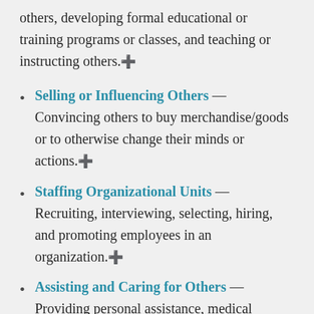others, developing formal educational or training programs or classes, and teaching or instructing others.⊕
Selling or Influencing Others — Convincing others to buy merchandise/goods or to otherwise change their minds or actions.⊕
Staffing Organizational Units — Recruiting, interviewing, selecting, hiring, and promoting employees in an organization.⊕
Assisting and Caring for Others — Providing personal assistance, medical attention, emotional support, or other